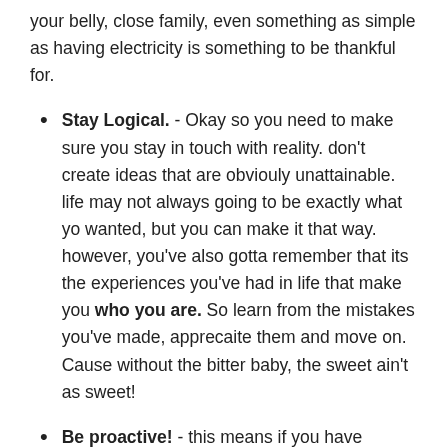your belly, close family, even something as simple as having electricity is something to be thankful for.
Stay Logical. - Okay so you need to make sure you stay in touch with reality. don't create ideas that are obviouly unattainable. life may not always going to be exactly what yo wanted, but you can make it that way. however, you've also gotta remember that its the experiences you've had in life that make you who you are. So learn from the mistakes you've made, apprecaite them and move on. Cause without the bitter baby, the sweet ain't as sweet!
Be proactive! - this means if you have paperwork to fill out, people to call, loose ends to tie up, get them done!! setting them aside will do nothing but make getting back on track even harder. Do what you can at the time, and let yourself relax and forget about it untill whatever it is comes up again. don't spend your time worrying about all of the issues. think about them, find a solution, do what you can to get toward that solution, and dont let it whirl around in your head. when it does invade your thoughts just remember this, you've done every step possible for